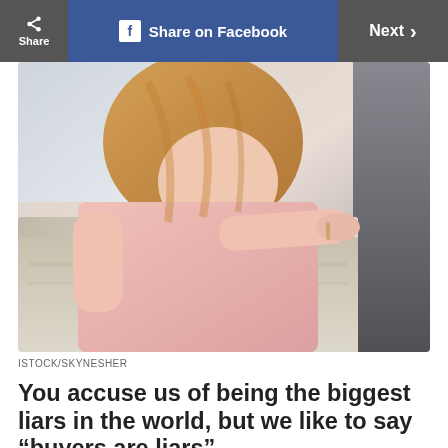Share | Share on Facebook | Next >
[Figure (photo): Woman in pink long-sleeve shirt leaning forward examining the back seat interior of a car with beige leather seats]
ISTOCK/SKYNESHER
You accuse us of being the biggest liars in the world, but we like to say “buyers are liars”
You tell us you’re looking for a car for a friend, that